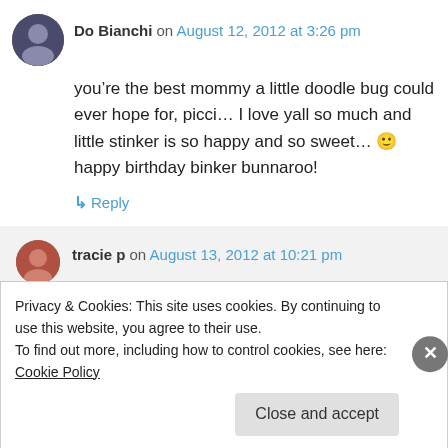Do Bianchi on August 12, 2012 at 3:26 pm
you’re the best mommy a little doodle bug could ever hope for, picci… I love yall so much and little stinker is so happy and so sweet… 🙂 happy birthday binker bunnaroo!
Reply
tracie p on August 13, 2012 at 10:21 pm
Privacy & Cookies: This site uses cookies. By continuing to use this website, you agree to their use.
To find out more, including how to control cookies, see here: Cookie Policy
Close and accept